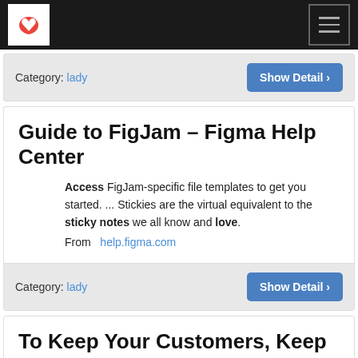Lite [logo] | hamburger menu
Category: lady | Show Detail >
Guide to FigJam – Figma Help Center
Access FigJam-specific file templates to get you started. ... Stickies are the virtual equivalent to the sticky notes we all know and love. From help.figma.com
Category: lady | Show Detail >
To Keep Your Customers, Keep It Simple